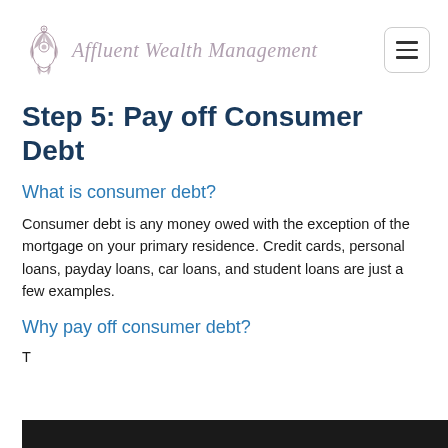[Figure (logo): Affluent Wealth Management logo with decorative floral/botanical illustration and cursive text]
Step 5: Pay off Consumer Debt
What is consumer debt?
Consumer debt is any money owed with the exception of the mortgage on your primary residence. Credit cards, personal loans, payday loans, car loans, and student loans are just a few examples.
Why pay off consumer debt?
T